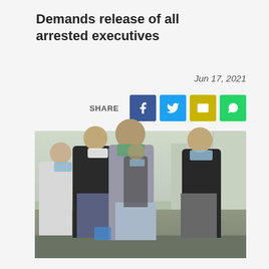Demands release of all arrested executives
Jun 17, 2021
[Figure (photo): Several people wearing face masks walking together outdoors near a building. A central older man in a grey blazer appears to be escorted by others wearing lanyards and casual clothes. The scene appears to be an arrest or detainment situation.]
SHARE  [Facebook] [Twitter] [Email] [WhatsApp]